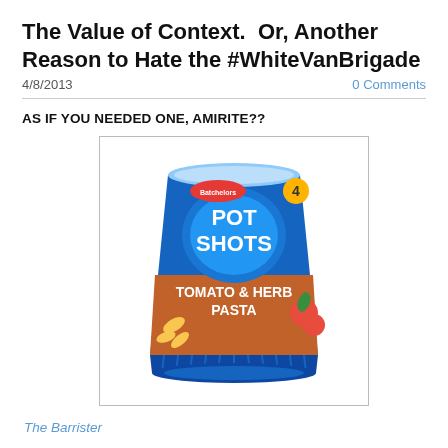The Value of Context.  Or, Another Reason to Hate the #WhiteVanBrigade
4/8/2013
0 Comments
AS IF YOU NEEDED ONE, AMIRITE??
[Figure (photo): A Batchelors Pot Shots Tomato & Herb Pasta cup product photo. Blue cup with ridged base, showing the product name and flavour in large bold text on a blue and orange label.]
The Barrister